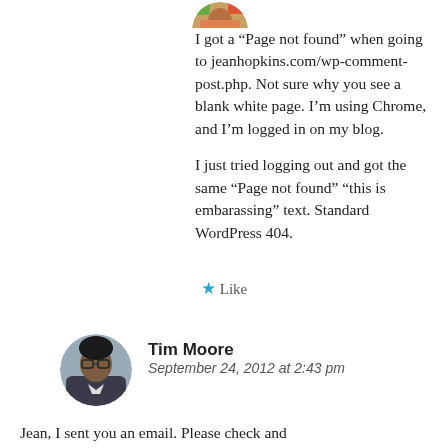[Figure (photo): Partially visible circular avatar image at top of comment, showing colorful profile photo cropped at top edge]
I got a “Page not found” when going to jeanhopkins.com/wp-comment-post.php. Not sure why you see a blank white page. I’m using Chrome, and I’m logged in on my blog.

I just tried logging out and got the same “Page not found” “this is embarassing” text. Standard WordPress 404.
★ Like
[Figure (photo): Circular avatar photo of Tim Moore, a man with glasses]
Tim Moore
September 24, 2012 at 2:43 pm
Jean, I sent you an email. Please check and